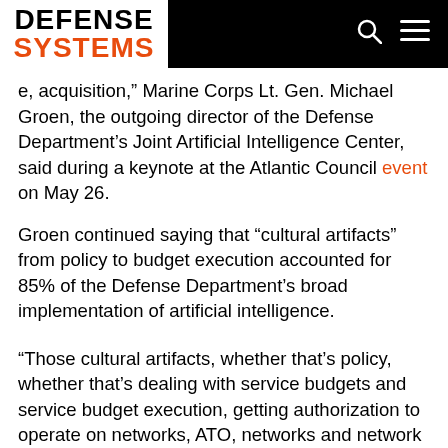DEFENSE SYSTEMS
e, acquisition,” Marine Corps Lt. Gen. Michael Groen, the outgoing director of the Defense Department’s Joint Artificial Intelligence Center, said during a keynote at the Atlantic Council event on May 26.
Groen continued saying that “cultural artifacts” from policy to budget execution accounted for 85% of the Defense Department’s broad implementation of artificial intelligence.
“Those cultural artifacts, whether that’s policy, whether that’s dealing with service budgets and service budget execution, getting authorization to operate on networks, ATO, networks and network policy, network security. The role of the department in all of those things, the relationship of the department with the services becomes a key conversation,” Groen said.